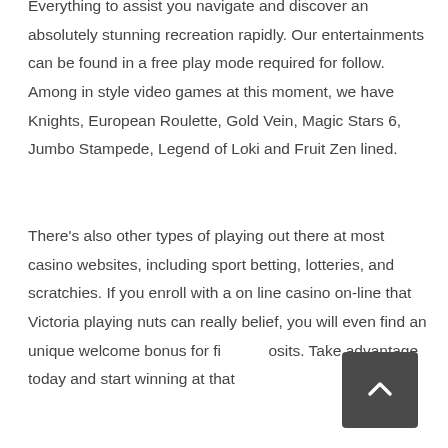Everything to assist you navigate and discover an absolutely stunning recreation rapidly. Our entertainments can be found in a free play mode required for follow. Among in style video games at this moment, we have Knights, European Roulette, Gold Vein, Magic Stars 6, Jumbo Stampede, Legend of Loki and Fruit Zen lined.
There's also other types of playing out there at most casino websites, including sport betting, lotteries, and scratchies. If you enroll with a on line casino on-line that Victoria playing nuts can really belief, you will even find an unique welcome bonus for first deposits. Take advantage today and start winning at that